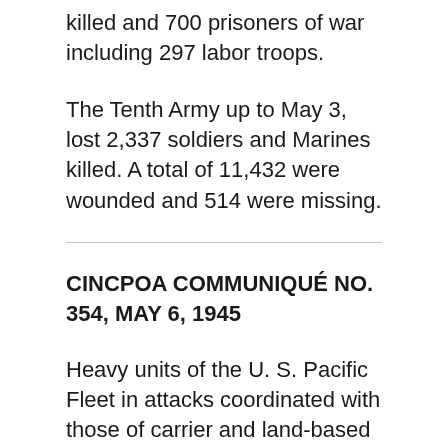killed and 700 prisoners of war including 297 labor troops.
The Tenth Army up to May 3, lost 2,337 soldiers and Marines killed. A total of 11,432 were wounded and 514 were missing.
CINCPOA COMMUNIQUÉ NO. 354, MAY 6, 1945
Heavy units of the U. S. Pacific Fleet in attacks coordinated with those of carrier and land-based aircraft bombarded enemy positions on Okinawa on May 5 (East Longitude Date). During the early morning and early evening of that day a number of